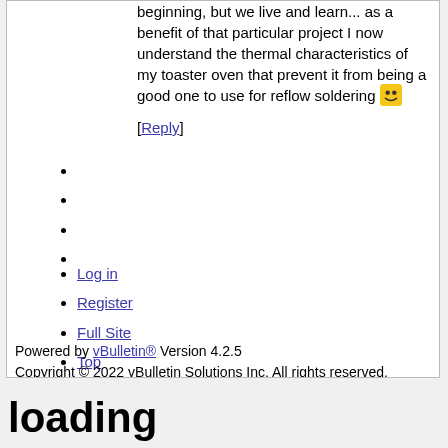beginning, but we live and learn... as a benefit of that particular project I now understand the thermal characteristics of my toaster oven that prevent it from being a good one to use for reflow soldering 😊
[Reply]
Log in
Register
Full Site
Top
Powered by vBulletin® Version 4.2.5
Copyright © 2022 vBulletin Solutions Inc. All rights reserved.
loading